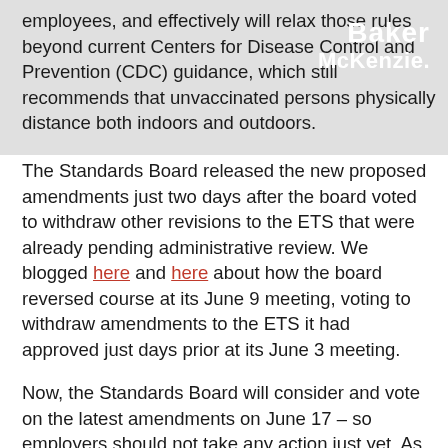Baker McKenzie. [logo]
employees, and effectively will relax those rules beyond current Centers for Disease Control and Prevention (CDC) guidance, which still recommends that unvaccinated persons physically distance both indoors and outdoors.
The Standards Board released the new proposed amendments just two days after the board voted to withdraw other revisions to the ETS that were already pending administrative review. We blogged here and here about how the board reversed course at its June 9 meeting, voting to withdraw amendments to the ETS it had approved just days prior at its June 3 meeting.
Now, the Standards Board will consider and vote on the latest amendments on June 17 – so employers should not take any action just yet. As we have seen, the Standards Board can quickly change its positions on ETS amendments.